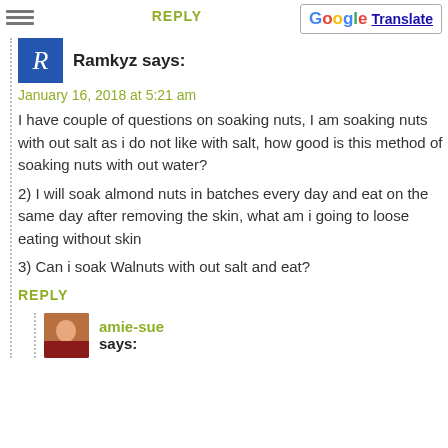REPLY
Translate
Ramkyz says:
January 16, 2018 at 5:21 am
I have couple of questions on soaking nuts, I am soaking nuts with out salt as i do not like with salt, how good is this method of soaking nuts with out water?
2) I will soak almond nuts in batches every day and eat on the same day after removing the skin, what am i going to loose eating without skin
3) Can i soak Walnuts with out salt and eat?
REPLY
amie-sue says: